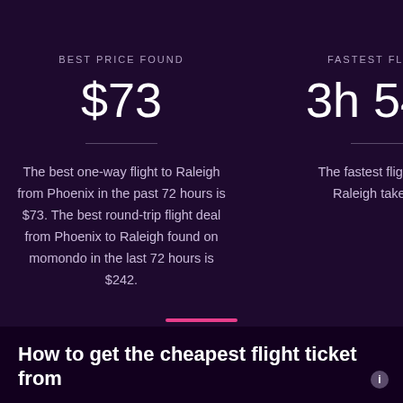BEST PRICE FOUND
$73
The best one-way flight to Raleigh from Phoenix in the past 72 hours is $73. The best round-trip flight deal from Phoenix to Raleigh found on momondo in the last 72 hours is $242.
FASTEST FLIGHT T
3h 54m
The fastest flight from P Raleigh takes 3h 5
How to get the cheapest flight ticket from